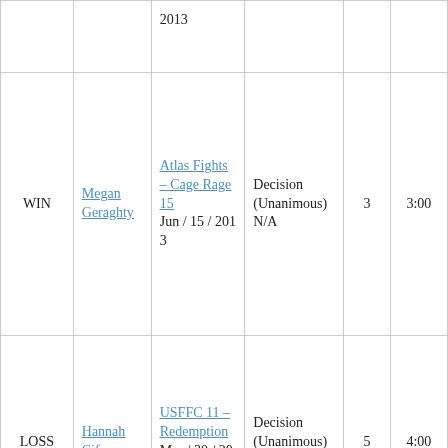| Result | Opponent | Event / Date | Method | Rd | Time |
| --- | --- | --- | --- | --- | --- |
|  |  | 2013 |  |  |  |
| WIN | Megan Geraghty | Atlas Fights – Cage Rage 15
Jun / 15 / 2013 | Decision (Unanimous)
N/A | 3 | 3:00 |
| LOSS | Hannah Cifers | USFFC 11 – Redemption
Mar / 30 / 2013 | Decision (Unanimous)
Donnie Jessup | 5 | 4:00 |